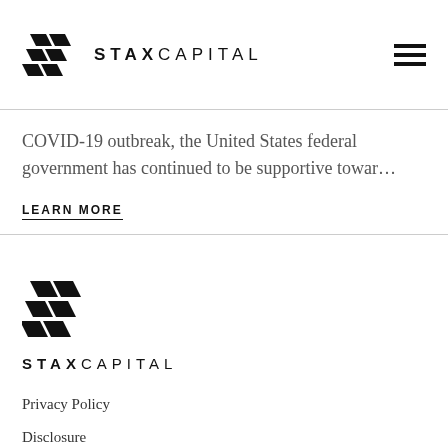[Figure (logo): Stax Capital logo with geometric brick-like icon and STAXCAPITAL text in spaced uppercase letters]
COVID-19 outbreak, the United States federal government has continued to be supportive towar…
LEARN MORE
[Figure (logo): Stax Capital footer logo with larger geometric brick-like icon and STAXCAPITAL text]
Privacy Policy
Disclosure